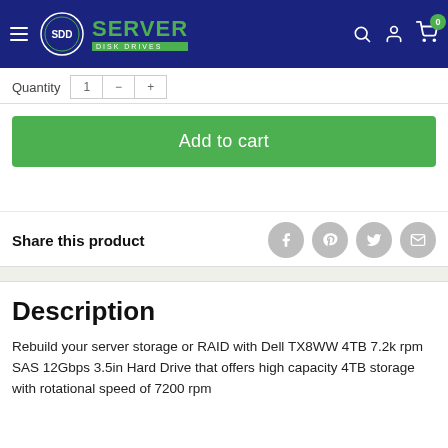[Figure (logo): Server Disk Drives logo with hamburger menu, search, account, and cart icons in dark blue header bar]
Quantity
Add to cart
Share this product
Description
Rebuild your server storage or RAID with Dell TX8WW 4TB 7.2k rpm SAS 12Gbps 3.5in Hard Drive that offers high capacity 4TB storage with rotational speed of 7200 rpm